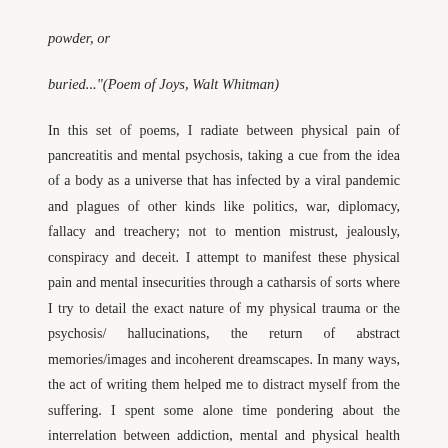powder, or
buried..." (Poem of Joys, Walt Whitman)
In this set of poems, I radiate between physical pain of pancreatitis and mental psychosis, taking a cue from the idea of a body as a universe that has infected by a viral pandemic and plagues of other kinds like politics, war, diplomacy, fallacy and treachery; not to mention mistrust, jealously, conspiracy and deceit. I attempt to manifest these physical pain and mental insecurities through a catharsis of sorts where I try to detail the exact nature of my physical trauma or the psychosis/ hallucinations, the return of abstract memories/images and incoherent dreamscapes. In many ways, the act of writing them helped me to distract myself from the suffering. I spent some alone time pondering about the interrelation between addiction, mental and physical health and poetry and tried to relief my mental suffering through physical pain.